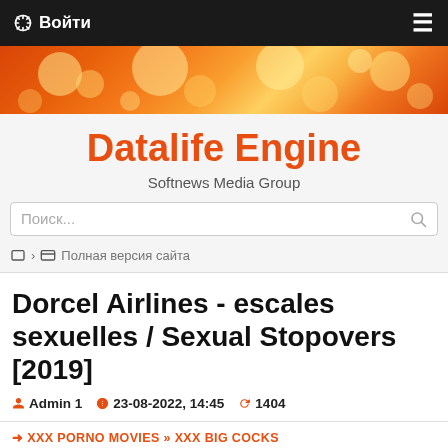Войти
[Figure (illustration): Orange bokeh banner with glowing light circles]
Datalife Engine
Softnews Media Group
Поиск...
Полная версия сайта
Dorcel Airlines - escales sexuelles / Sexual Stopovers [2019]
Admin 1   23-08-2022, 14:45   1404
XXX PORNO MOVIES » XXX big cocks